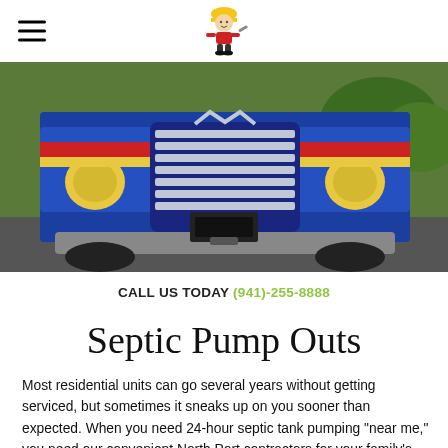[Figure (photo): Front view of a large blue commercial septic pump truck with chrome grille, parked on a road with green trees in background]
CALL US TODAY (941)-255-8888
Septic Pump Outs
Most residential units can go several years without getting serviced, but sometimes it sneaks up on you sooner than expected. When you need 24-hour septic tank pumping "near me," you need our convenient North Port contractors for your family's water...